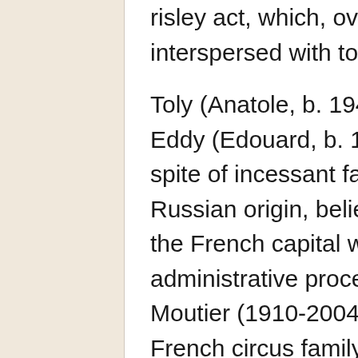risley act, which, over the years, has been increasingly interspersed with touches of comedy.
Toly (Anatole, b. 1943), Charly (Charles, b. 1945), and Eddy (Edouard, b. 1949) were all born in Paris, France: In spite of incessant family travels, their mother, being of Russian origin, believed that having all her children born in the French capital would ease the intricate French administrative procedures. Their father, Louis Dedessus le Moutier (1910-2004), was fourth generation of an old French circus family; Nona, their mother, was born Bedini, a celebrated Russian circus family of Italian origins.
The Dedessus le Moutier Family
The family's surname, Dedessus le Moutier, is rather ancient and may have old aristocratic roots. One might regret, however, that no romantic tale exists in the family lore of a noble ancestor who